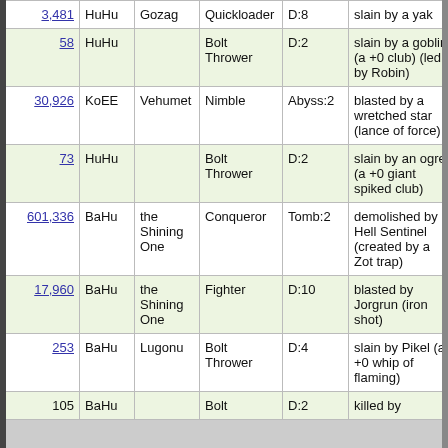| Score | Race | God | Title | Place | Death | Lvl | Turns |
| --- | --- | --- | --- | --- | --- | --- | --- |
| 3,481 | HuHu | Gozag | Quickloader | D:8 | slain by a yak | 10 | 7… |
| 58 | HuHu |  | Bolt Thrower | D:2 | slain by a goblin (a +0 club) (led by Robin) | 4 | 1,… |
| 30,926 | KoEE | Vehumet | Nimble | Abyss:2 | blasted by a wretched star (lance of force) | 13 | 21,… |
| 73 | HuHu |  | Bolt Thrower | D:2 | slain by an ogre (a +0 giant spiked club) | 4 | 1,… |
| 601,336 | BaHu | the Shining One | Conqueror | Tomb:2 | demolished by a Hell Sentinel (created by a Zot trap) | 27 | 94,… |
| 17,960 | BaHu | the Shining One | Fighter | D:10 | blasted by Jorgrun (iron shot) | 12 | 13,… |
| 253 | BaHu | Lugonu | Bolt Thrower | D:4 | slain by Pikel (a +0 whip of flaming) | 6 | 2,… |
| 105 | BaHu |  | Bolt | D:2 | killed by | 4 |  |